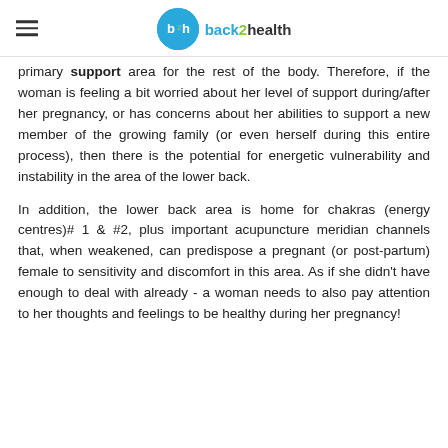back2health
primary support area for the rest of the body. Therefore, if the woman is feeling a bit worried about her level of support during/after her pregnancy, or has concerns about her abilities to support a new member of the growing family (or even herself during this entire process), then there is the potential for energetic vulnerability and instability in the area of the lower back.
In addition, the lower back area is home for chakras (energy centres)# 1 & #2, plus important acupuncture meridian channels that, when weakened, can predispose a pregnant (or post-partum) female to sensitivity and discomfort in this area. As if she didn't have enough to deal with already - a woman needs to also pay attention to her thoughts and feelings to be healthy during her pregnancy!